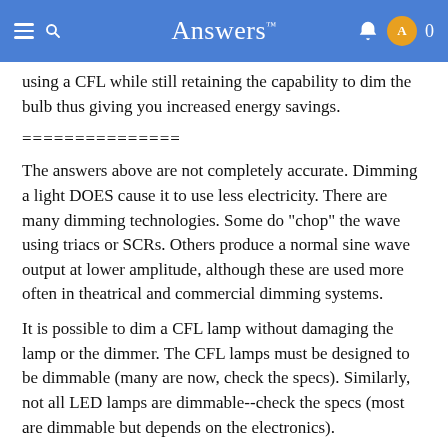Answers™
using a CFL while still retaining the capability to dim the bulb thus giving you increased energy savings.
===============
The answers above are not completely accurate. Dimming a light DOES cause it to use less electricity. There are many dimming technologies. Some do "chop" the wave using triacs or SCRs. Others produce a normal sine wave output at lower amplitude, although these are used more often in theatrical and commercial dimming systems.
It is possible to dim a CFL lamp without damaging the lamp or the dimmer. The CFL lamps must be designed to be dimmable (many are now, check the specs). Similarly, not all LED lamps are dimmable--check the specs (most are dimmable but depends on the electronics).